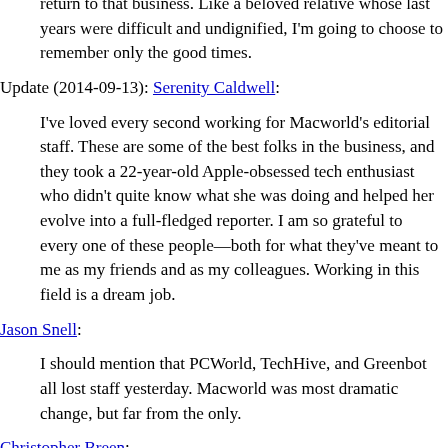return to that business. Like a beloved relative whose last years were difficult and undignified, I'm going to choose to remember only the good times.
Update (2014-09-13): Serenity Caldwell:
I've loved every second working for Macworld's editorial staff. These are some of the best folks in the business, and they took a 22-year-old Apple-obsessed tech enthusiast who didn't quite know what she was doing and helped her evolve into a full-fledged reporter. I am so grateful to every one of these people—both for what they've meant to me as my friends and as my colleagues. Working in this field is a dream job.
Jason Snell:
I should mention that PCWorld, TechHive, and Greenbot all lost staff yesterday. Macworld was most dramatic change, but far from the only.
Christopher Breen:
It's easy to blame management because, hey, it's always